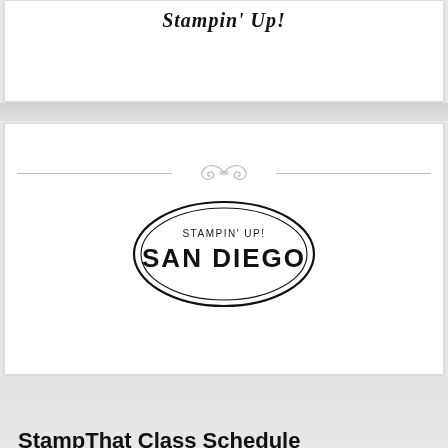Stampin' Up!
[Figure (logo): Stampin' Up! San Diego oval logo with double border ellipse]
StampThat Class Schedule